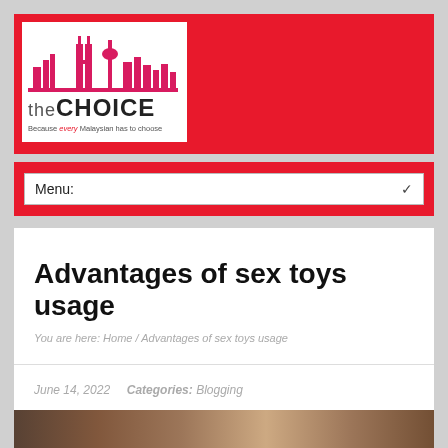[Figure (logo): theCHOICE website logo with Kuala Lumpur city skyline silhouette in pink/red on white background, text 'theCHOICE' and tagline 'Because every Malaysian has to choose' on red banner header]
Menu:
Advantages of sex toys usage
You are here: Home / Advantages of sex toys usage
June 14, 2022   Categories: Blogging